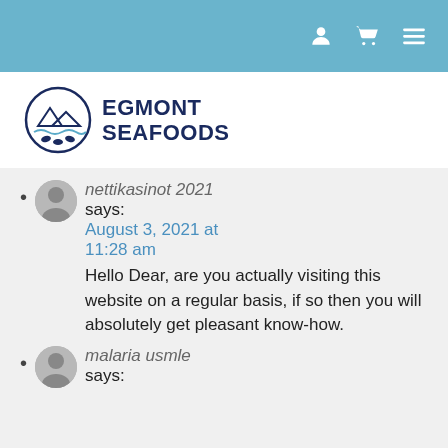[Figure (logo): Egmont Seafoods logo: circular icon with stylized fish and waves, next to bold dark blue text reading EGMONT SEAFOODS]
nettikasinot 2021 says: August 3, 2021 at 11:28 am
Hello Dear, are you actually visiting this website on a regular basis, if so then you will absolutely get pleasant know-how.
malaria usmle says: